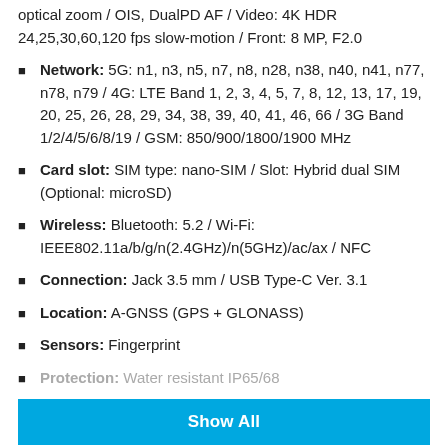optical zoom / OIS, DualPD AF / Video: 4K HDR 24,25,30,60,120 fps slow-motion / Front: 8 MP, F2.0
Network: 5G: n1, n3, n5, n7, n8, n28, n38, n40, n41, n77, n78, n79 / 4G: LTE Band 1, 2, 3, 4, 5, 7, 8, 12, 13, 17, 19, 20, 25, 26, 28, 29, 34, 38, 39, 40, 41, 46, 66 / 3G Band 1/2/4/5/6/8/19 / GSM: 850/900/1800/1900 MHz
Card slot: SIM type: nano-SIM / Slot: Hybrid dual SIM (Optional: microSD)
Wireless: Bluetooth: 5.2 / Wi-Fi: IEEE802.11a/b/g/n(2.4GHz)/n(5GHz)/ac/ax / NFC
Connection: Jack 3.5 mm / USB Type-C Ver. 3.1
Location: A-GNSS (GPS + GLONASS)
Sensors: Fingerprint
Protection: Water resistant IP65/68
Show All
Sony Xperia 1 III Reviews